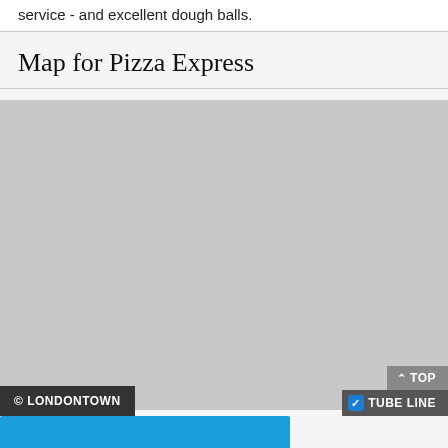service - and excellent dough balls.
Map for Pizza Express
[Figure (map): A grey placeholder map area for Pizza Express location]
© LONDONTOWN
TOP  TUBE LINE